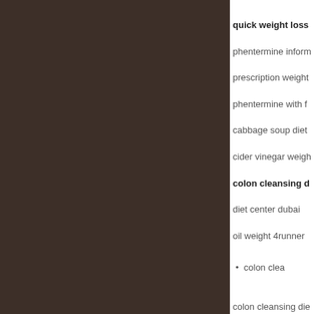quick weight loss
phentermine inform
prescription weight
phentermine with f
cabbage soup diet
cider vinegar weigh
colon cleansing d
diet center dubai
oil weight 4runner
colon clea
colon cleansing die